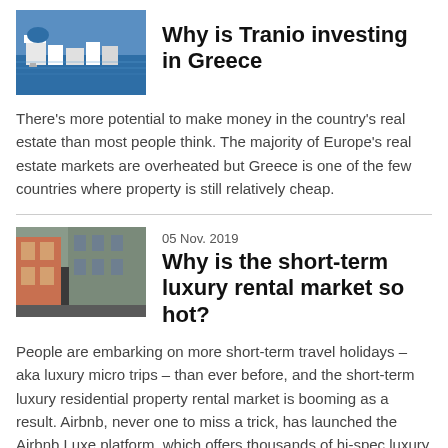[Figure (photo): Photo of Greek island with blue and white buildings and sea]
Why is Tranio investing in Greece
There's more potential to make money in the country's real estate than most people think. The majority of Europe's real estate markets are overheated but Greece is one of the few countries where property is still relatively cheap.
[Figure (photo): Photo of a narrow street with colorful buildings]
05 Nov. 2019
Why is the short-term luxury rental market so hot?
People are embarking on more short-term travel holidays – aka luxury micro trips – than ever before, and the short-term luxury residential property rental market is booming as a result. Airbnb, never one to miss a trick, has launched the Airbnb Luxe platform, which offers thousands of hi-spec luxury apartments in classy areas from $1,000 a night to cater for this growing market. Tranio explains why there are so